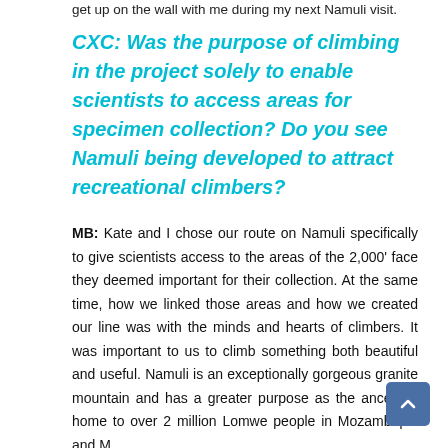get up on the wall with me during my next Namuli visit.
CXC: Was the purpose of climbing in the project solely to enable scientists to access areas for specimen collection? Do you see Namuli being developed to attract recreational climbers?
MB: Kate and I chose our route on Namuli specifically to give scientists access to the areas of the 2,000' face they deemed important for their collection. At the same time, how we linked those areas and how we created our line was with the minds and hearts of climbers. It was important to us to climb something both beautiful and useful. Namuli is an exceptionally gorgeous granite mountain and has a greater purpose as the ancestral home to over 2 million Lomwe people in Mozambique and Malawi, the sacred home to about 10,000...